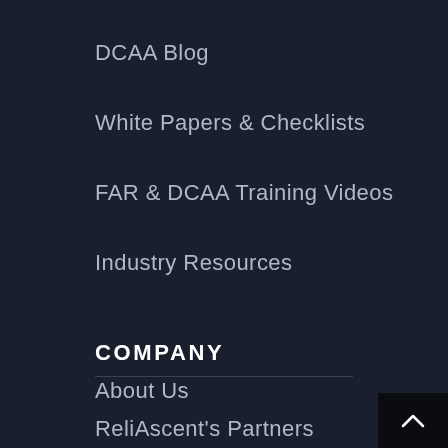DCAA Blog
White Papers & Checklists
FAR & DCAA Training Videos
Industry Resources
COMPANY
About Us
ReliAscent's Partners
Client Reviews